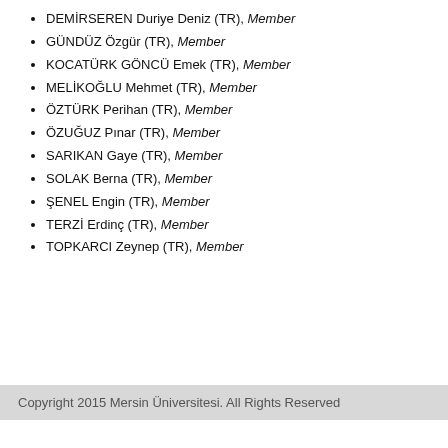DEMİRSEREN Duriye Deniz (TR), Member
GÜNDÜZ Özgür (TR), Member
KOCATÜRK GÖNCÜ Emek (TR), Member
MELİKOĞLU Mehmet (TR), Member
ÖZTÜRK Perihan (TR), Member
ÖZUĞUZ Pınar (TR), Member
SARIKAN Gaye (TR), Member
SOLAK Berna (TR), Member
ŞENEL Engin (TR), Member
TERZİ Erdinç (TR), Member
TOPKARCI Zeynep (TR), Member
Copyright 2015 Mersin Üniversitesi. All Rights Reserved